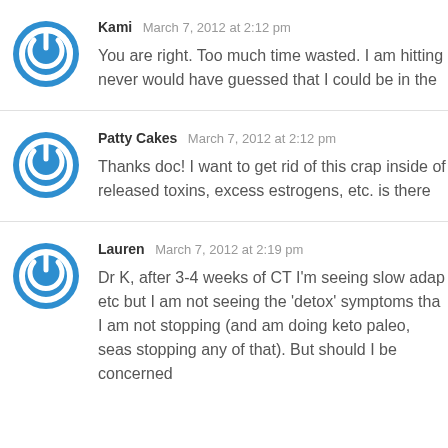Kami  March 7, 2012 at 2:12 pm
You are right. Too much time wasted. I am hitting never would have guessed that I could be in the
Patty Cakes  March 7, 2012 at 2:12 pm
Thanks doc! I want to get rid of this crap inside of released toxins, excess estrogens, etc. is there
Lauren  March 7, 2012 at 2:19 pm
Dr K, after 3-4 weeks of CT I'm seeing slow adap etc but I am not seeing the 'detox' symptoms tha I am not stopping (and am doing keto paleo, seas stopping any of that). But should I be concerned